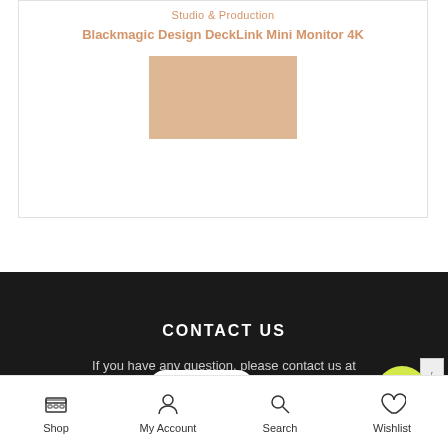Studio & Production
Blackmagic Design DeckLink Mini Monitor 4K
[Figure (photo): Product image placeholder — tan/beige rectangle representing product photo]
CONTACT US
If you have any question, please contact us at
Contact us
Shop  My Account  Search  Wishlist